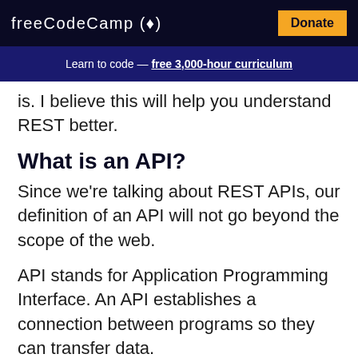freeCodeCamp(🔥)  Donate
Learn to code — free 3,000-hour curriculum
is. I believe this will help you understand REST better.
What is an API?
Since we're talking about REST APIs, our definition of an API will not go beyond the scope of the web.
API stands for Application Programming Interface. An API establishes a connection between programs so they can transfer data.